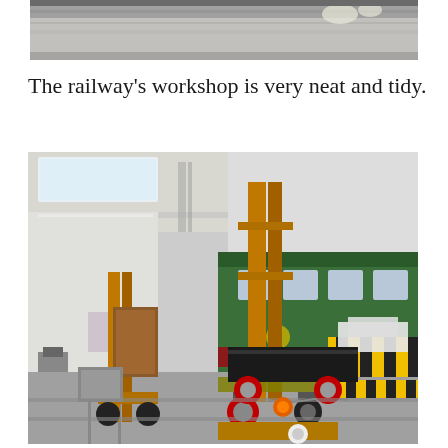[Figure (photo): Top portion of a photo showing a ceiling or upper interior of a workshop, with grey/concrete ceiling visible]
The railway’s workshop is very neat and tidy.
[Figure (photo): Interior of a railway workshop showing yellow forklifts/lifting equipment on tracks, a green vintage railway carriage in the background, and black and yellow striped barriers. The workshop has white walls and fluorescent lighting.]